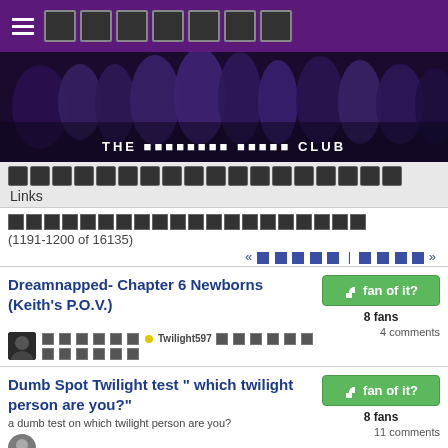≡ [blocks] THE [blocks] CLUB
[Figure (photo): Banner image of Twilight movie cast characters with text 'THE [blocks] CLUB' at bottom]
[navigation blocks] Links
[blocks] (1191-1200 of 16135) « [prev] | [next] »
Dreamnapped- Chapter 6 Newborns (Keith's P.O.V.)
8 fans
4 comments
[avatar] [meta blocks] • Twilight597 [blocks]
Dumb Spot Twilight test " which twilight person are you?"
a dumb test on which twilight person are you?
8 fans
11 comments
[avatar] [meta blocks] • Pepsi12Cola [blocks]
Dusk